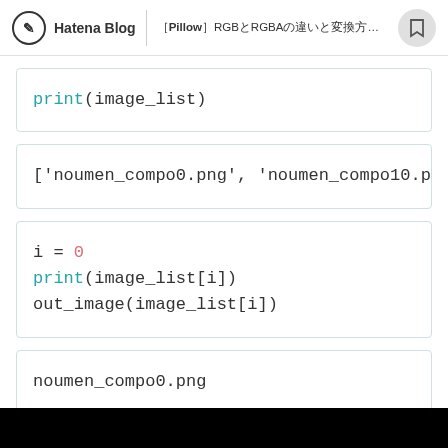Hatena Blog | ［Pillow］RGBとRGBAの違いと変換方法について
print(image_list)
['noumen_compo0.png', 'noumen_compo10.png', 'n
i = 0
print(image_list[i])
out_image(image_list[i])
noumen_compo0.png